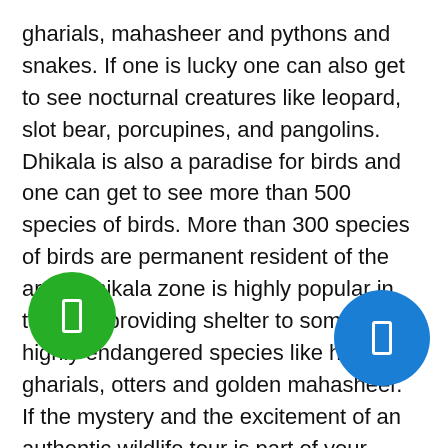gharials, mahasheer and pythons and snakes. If one is lucky one can also get to see nocturnal creatures like leopard, slot bear, porcupines, and pangolins. Dhikala is also a paradise for birds and one can get to see more than 500 species of birds. More than 300 species of birds are permanent resident of the area. Dhikala zone is highly popular in terms of providing shelter to some of the highly endangered species like hog Deer, gharials, otters and golden mahasheer. If the mystery and the excitement of an authentic wildlife tour is part of your travel itinerary, then look no further than a Fun Tour to Jim Corbett National Park. Sprawl over 600 square kilometers, Corbett takes you to an amazing world full of wildlife, birding s[...]ries and nature preserves. Keep your ca[...] a[...]ady because there are plenty of Royal B[...] Tigers, Elephants, Leopards and riverside Sparrows to be photographed. For bird lovers nothing could b...